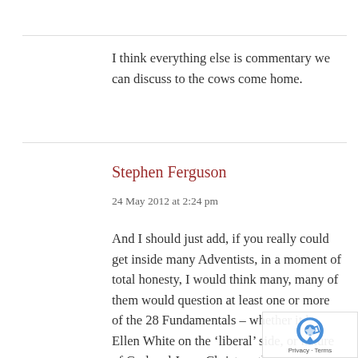I think everything else is commentary we can discuss to the cows come home.
Stephen Ferguson
24 May 2012 at 2:24 pm
And I should just add, if you really could get inside many Adventists, in a moment of total honesty, I would think many, many of them would question at least one or more of the 28 Fundamentals – whether it be Ellen White on the 'liberal' side, or nature of God and Jesus Christ on the 'conservative side'. To that extent 28 Fundamentals are not really ou 'fundamentals' at all. In reality we hav